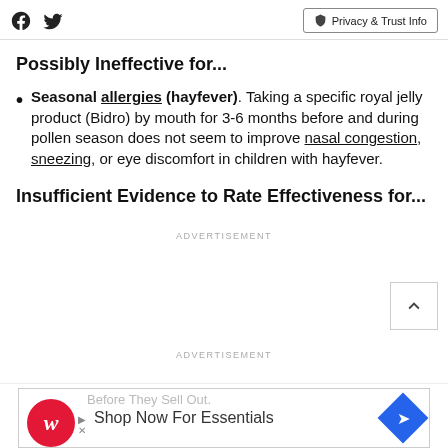Social icons (Facebook, Twitter) | Privacy & Trust Info
Possibly Ineffective for...
Seasonal allergies (hayfever). Taking a specific royal jelly product (Bidro) by mouth for 3-6 months before and during pollen season does not seem to improve nasal congestion, sneezing, or eye discomfort in children with hayfever.
Insufficient Evidence to Rate Effectiveness for...
ADVERTISEMENT
ADVERTISEMENT
Before They Sell Out. Shop Now For Essentials